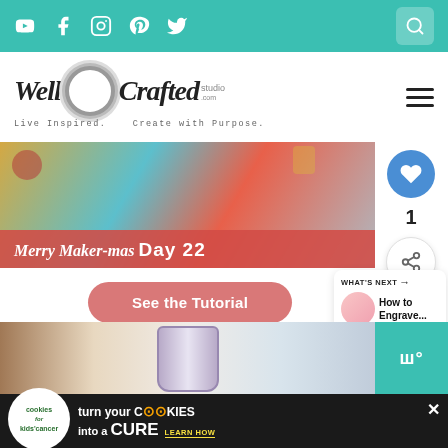Social media icons: YouTube, Facebook, Instagram, Pinterest, Twitter, Search
[Figure (logo): Well Crafted Studio logo with tagline: Live Inspired. Create with Purpose.]
[Figure (photo): Merry Maker-mas Day 22 banner image with holiday crafts and red overlay]
1
See the Tutorial
WHAT'S NEXT → How to Engrave...
[Figure (photo): Second craft project thumbnail showing a cup/tumbler]
[Figure (infographic): Advertisement: cookies for kids cancer - turn your COOKIES into a CURE LEARN HOW]